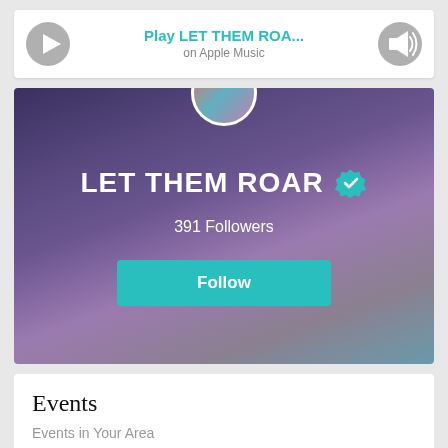Play LET THEM ROA... on Apple Music
[Figure (screenshot): Artist hero banner with blurred crowd background showing 'LET THEM ROAR' text with teal verified badge, 391 Followers count, and a teal Follow button]
Events
Events in Your Area